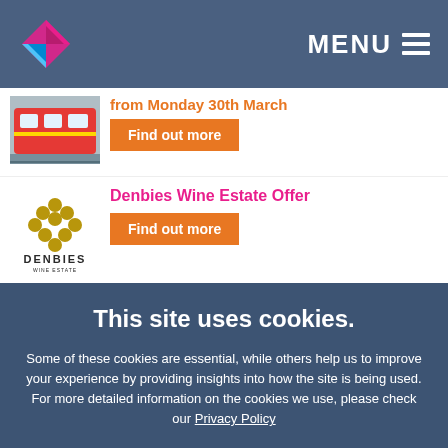MENU
from Monday 30th March
[Figure (photo): Red commuter train at a station platform]
Find out more
Denbies Wine Estate Offer
[Figure (logo): Denbies Wine Estate logo with gold bunch of grapes and text]
Find out more
Flexibility Working Webex
[Figure (photo): Flexibility Matters banner with purple and black background]
Find out more
This site uses cookies.
Some of these cookies are essential, while others help us to improve your experience by providing insights into how the site is being used. For more detailed information on the cookies we use, please check our Privacy Policy
Select preferences
Accept all